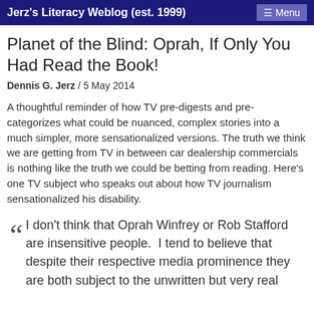Jerz's Literacy Weblog (est. 1999)  ≡ Menu
Planet of the Blind: Oprah, If Only You Had Read the Book!
Dennis G. Jerz / 5 May 2014
A thoughtful reminder of how TV pre-digests and pre-categorizes what could be nuanced, complex stories into a much simpler, more sensationalized versions. The truth we think we are getting from TV in between car dealership commercials is nothing like the truth we could be betting from reading. Here’s one TV subject who speaks out about how TV journalism sensationalized his disability.
““ I don’t think that Oprah Winfrey or Rob Stafford are insensitive people.  I tend to believe that despite their respective media prominence they are both subject to the unwritten but very real